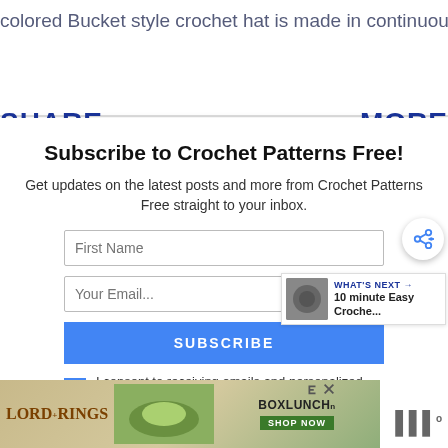colored Bucket style crochet hat is made in continuous rounds ...
SHARE   MORE
Subscribe to Crochet Patterns Free!
Get updates on the latest posts and more from Crochet Patterns Free straight to your inbox.
First Name
Your Email...
SUBSCRIBE
I consent to receiving emails and personalized ads.
[Figure (other): Lord of the Rings BoxLunch advertisement banner with SHOP NOW button]